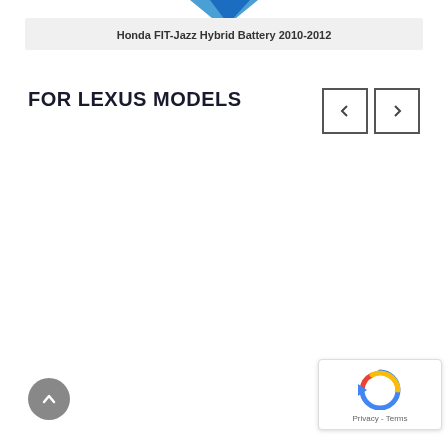[Figure (illustration): Blue chevron/wedge shape at top center of page]
Honda FIT-Jazz Hybrid Battery 2010-2012
FOR LEXUS MODELS
[Figure (illustration): Navigation previous button (left arrow) and next button (right arrow)]
[Figure (illustration): Scroll-to-top circular grey button with upward arrow]
[Figure (illustration): reCAPTCHA widget with Privacy - Terms label]